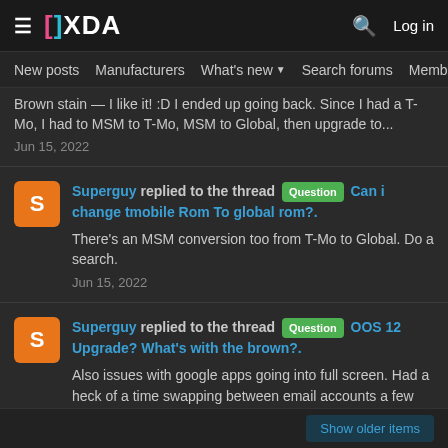XDA — New posts, Manufacturers, What's new, Search forums, Members
Brown stain — I like it! :D I ended up going back. Since I had a T-Mo, I had to MSM to T-Mo, MSM to Global, then upgrade to... Jun 15, 2022
Superguy replied to the thread [Question] Can i change tmobile Rom To global rom?. There's an MSM conversion too from T-Mo to Global. Do a search. Jun 15, 2022
Superguy replied to the thread [Question] OOS 12 Upgrade? What's with the brown?. Also issues with google apps going into full screen. Had a heck of a time swapping between email accounts a few minutes ago, and also... Jun 13, 2022
Show older items